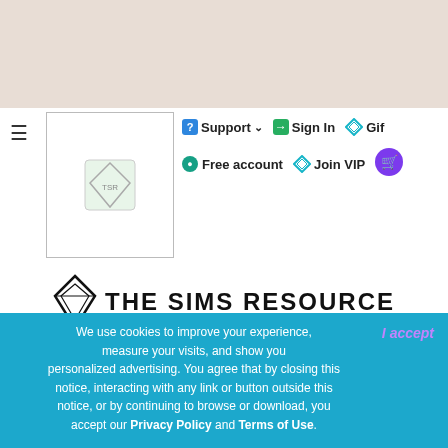Support | Sign In | Gif... | Free account | Join VIP
THE SIMS RESOURCE
TSR started August 1999 as the very first The Sims fansite. Today it's the largest The Sims community in the world. We offer more custom content than any other site and it's all for free!
Follow us
We use cookies to improve your experience, measure your visits, and show you personalized advertising. You agree that by closing this notice, interacting with any link or button outside this notice, or by continuing to browse or download, you accept our Privacy Policy and Terms of Use.